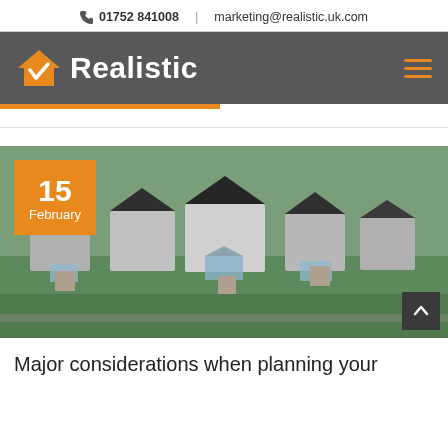📞 01752 841008 | marketing@realistic.uk.com
[Figure (logo): Realistic logo with orange house/checkmark icon and white bold text 'Realistic' on dark grey nav bar]
[Figure (photo): Aerial drone photograph of a row of UK residential houses with conservatories and gardens, taken from above]
Major considerations when planning your